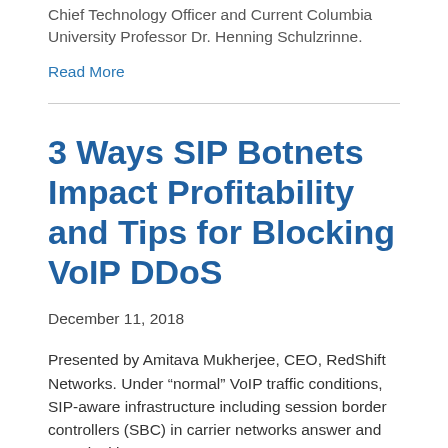Chief Technology Officer and Current Columbia University Professor Dr. Henning Schulzrinne.
Read More
3 Ways SIP Botnets Impact Profitability and Tips for Blocking VoIP DDoS
December 11, 2018
Presented by Amitava Mukherjee, CEO, RedShift Networks. Under “normal” VoIP traffic conditions, SIP-aware infrastructure including session border controllers (SBC) in carrier networks answer and route legitimate